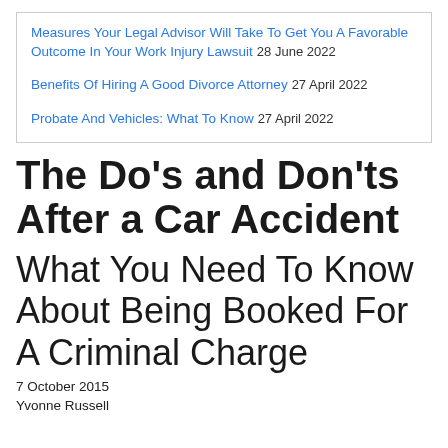Measures Your Legal Advisor Will Take To Get You A Favorable Outcome In Your Work Injury Lawsuit 28 June 2022
Benefits Of Hiring A Good Divorce Attorney 27 April 2022
Probate And Vehicles: What To Know 27 April 2022
The Do's and Don'ts After a Car Accident
What You Need To Know About Being Booked For A Criminal Charge
7 October 2015
Yvonne Russell